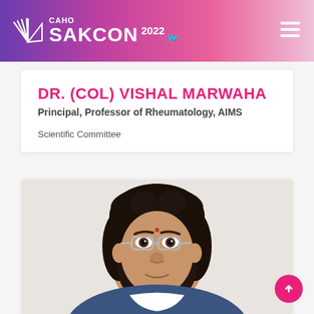CAHO SAKCON 2022
DR. (COL) VISHAL MARWAHA
Principal, Professor of Rheumatology, AIMS
Scientific Committee
[Figure (photo): Professional headshot of Dr. (Col) Vishal Marwaha, a woman with dark hair wearing glasses, against a white background]